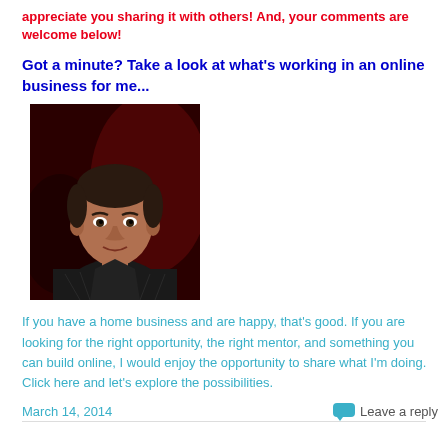appreciate you sharing it with others! And, your comments are welcome below!
Got a minute? Take a look at what's working in an online business for me...
[Figure (photo): Portrait photo of a middle-aged man with short dark hair, wearing a dark shirt, against a dark red background]
If you have a home business and are happy, that's good. If you are looking for the right opportunity, the right mentor, and something you can build online, I would enjoy the opportunity to share what I'm doing. Click here and let's explore the possibilities.
March 14, 2014
Leave a reply